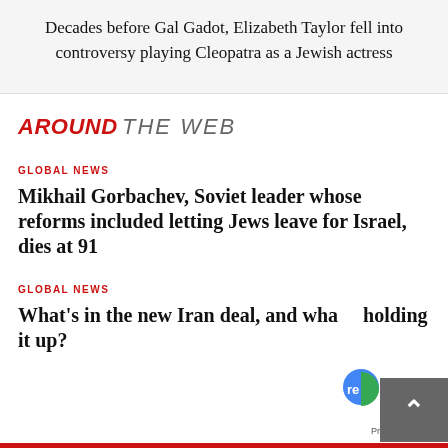Decades before Gal Gadot, Elizabeth Taylor fell into controversy playing Cleopatra as a Jewish actress
AROUND THE WEB
GLOBAL NEWS
Mikhail Gorbachev, Soviet leader whose reforms included letting Jews leave for Israel, dies at 91
GLOBAL NEWS
What's in the new Iran deal, and what's holding it up?